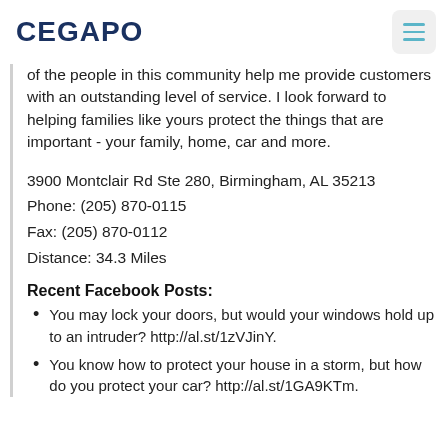CEGAPO
of the people in this community help me provide customers with an outstanding level of service. I look forward to helping families like yours protect the things that are important - your family, home, car and more.
3900 Montclair Rd Ste 280, Birmingham, AL 35213
Phone: (205) 870-0115
Fax: (205) 870-0112
Distance: 34.3 Miles
Recent Facebook Posts:
You may lock your doors, but would your windows hold up to an intruder? http://al.st/1zVJinY.
You know how to protect your house in a storm, but how do you protect your car? http://al.st/1GA9KTm.